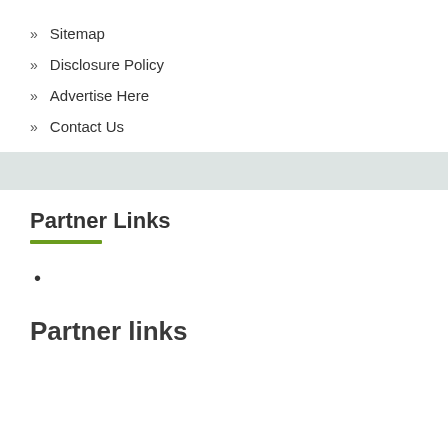» Sitemap
» Disclosure Policy
» Advertise Here
» Contact Us
Partner Links
•
Partner links